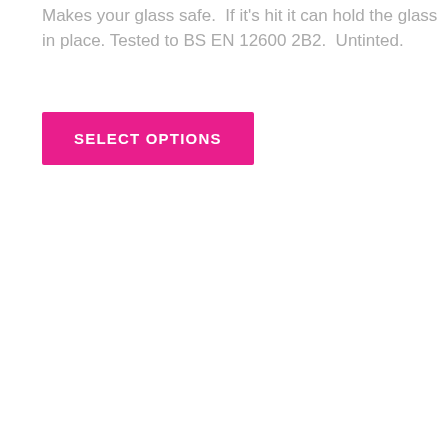Makes your glass safe.  If it's hit it can hold the glass in place. Tested to BS EN 12600 2B2.  Untinted.
SELECT OPTIONS